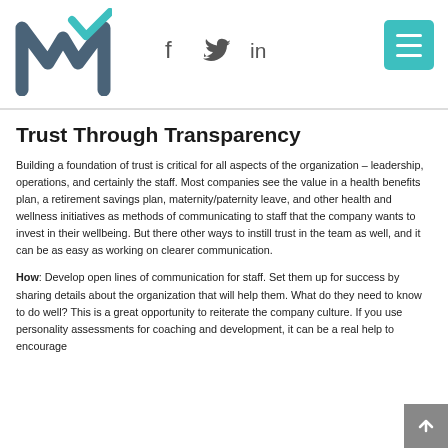[Figure (logo): Stylized M logo with teal checkmark, dark blue-grey color]
f  twitter  in  [menu button]
Trust Through Transparency
Building a foundation of trust is critical for all aspects of the organization – leadership, operations, and certainly the staff. Most companies see the value in a health benefits plan, a retirement savings plan, maternity/paternity leave, and other health and wellness initiatives as methods of communicating to staff that the company wants to invest in their wellbeing. But there other ways to instill trust in the team as well, and it can be as easy as working on clearer communication.
How: Develop open lines of communication for staff. Set them up for success by sharing details about the organization that will help them. What do they need to know to do well? This is a great opportunity to reiterate the company culture. If you use personality assessments for coaching and development, it can be a real help to encourage